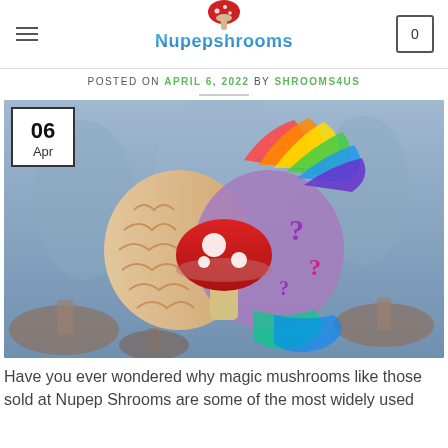Nupepshrooms
POSTED ON APRIL 6, 2022 BY SHROOMS4US
[Figure (illustration): A colorful illustration of a human brain split in half: left half is realistic beige brain, right half is colorful/psychedelic with rainbow splashes and question marks. A red and white spotted mushroom sits in the center. Background shows misty forest with giant mushrooms. Date badge '06 Apr' in top left corner.]
Have you ever wondered why magic mushrooms like those sold at Nupep Shrooms are some of the most widely used